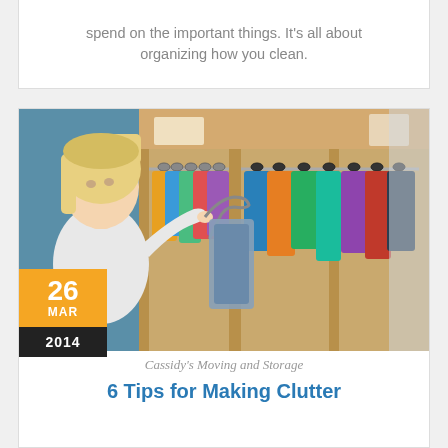spend on the important things. It's all about organizing how you clean.
[Figure (photo): Woman with short blonde hair looking at clothes in a packed closet with multiple hanging rods of colorful clothing]
26 MAR 2014
Cassidy's Moving and Storage
6 Tips for Making Clutter